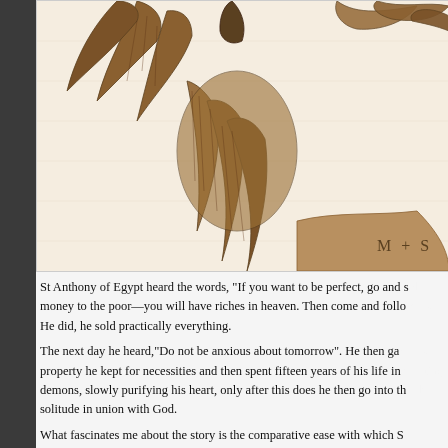[Figure (illustration): Detailed engraving/illustration of a large bird (eagle or similar) in a natural setting, with the initials 'M + S' visible at the bottom right of the image.]
St Anthony of Egypt heard the words, "If you want to be perfect, go and s... money to the poor—you will have riches in heaven. Then come and follo... He did, he sold practically everything.
The next day he heard,"Do not be anxious about tomorrow". He then ga... property he kept for necessities and then spent fifteen years of his life in... demons, slowly purifying his heart, only after this does he then go into th... solitude in union with God.
What fascinates me about the story is the comparative ease with which S... the things of the world but the internal battle is so lengthy and only acco... suffering on his part, then begins Anthony's life of union with God, he the... and ascetic union with God.
Only then does Anthony emerge to teach the spiritual life to those who fo... his cell.
I love the honest realism of the Egyptian saints; St Anthony reminds us th... easy, that those who teach it should be rooted in asceticism and union w...
I wonder if we say too much, too soon, when silence might be better.